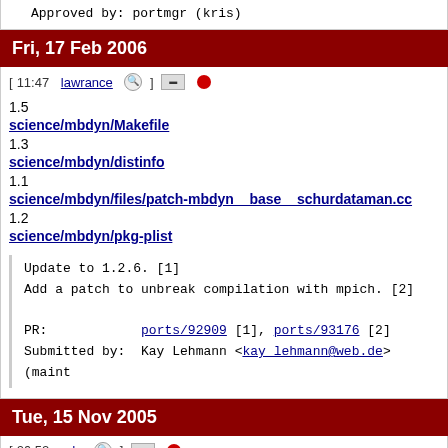Approved by:    portmgr (kris)
Fri, 17 Feb 2006
[ 11:47 lawrance ] [diff] [dot]
1.5 science/mbdyn/Makefile
1.3 science/mbdyn/distinfo
1.1 science/mbdyn/files/patch-mbdyn__base__schurdataman.cc
1.2 science/mbdyn/pkg-plist
Update to 1.2.6. [1]
Add a patch to unbreak compilation with mpich. [2]

PR:            ports/92909 [1], ports/93176 [2]
Submitted by:  Kay Lehmann <kay_lehmann@web.de> (maint
Tue, 15 Nov 2005
[ 06:52 ade ] [diff] [dot]
1.18 Mk/bsd.php.mk
1.48 accessibility/at-spi/Makefile
1.26 accessibility/dasher/Makefile
1.45 accessibility/gail/Makefile
1.29 accessibility/gnomemag/Makefile